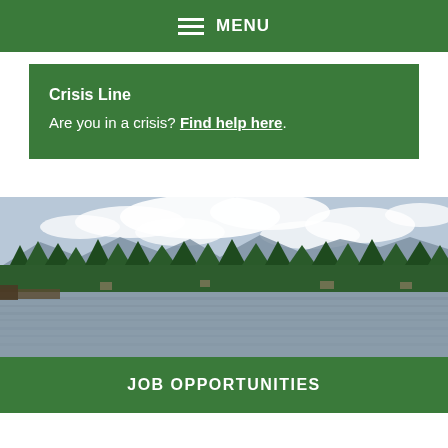MENU
Crisis Line
Are you in a crisis? Find help here.
[Figure (photo): Lakeside panorama with trees, mountains, and cloudy sky]
JOB OPPORTUNITIES